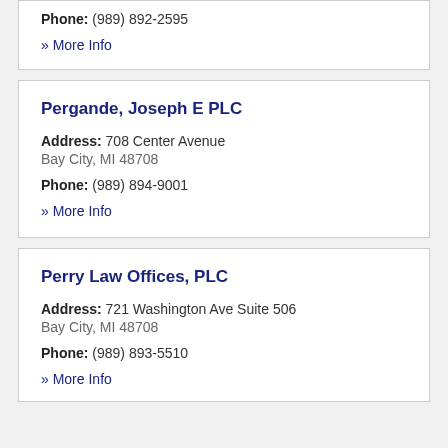Phone: (989) 892-2595
» More Info
Pergande, Joseph E PLC
Address: 708 Center Avenue Bay City, MI 48708
Phone: (989) 894-9001
» More Info
Perry Law Offices, PLC
Address: 721 Washington Ave Suite 506 Bay City, MI 48708
Phone: (989) 893-5510
» More Info